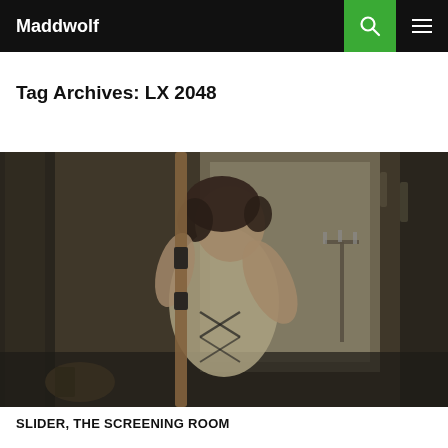Maddwolf
Tag Archives: LX 2048
[Figure (photo): A young woman with curly dark hair, wearing a period corset dress, pulling back a bow (without arrow) toward the camera. The background shows a dimly lit ornate room with curtains and candelabra.]
SLIDER, THE SCREENING ROOM